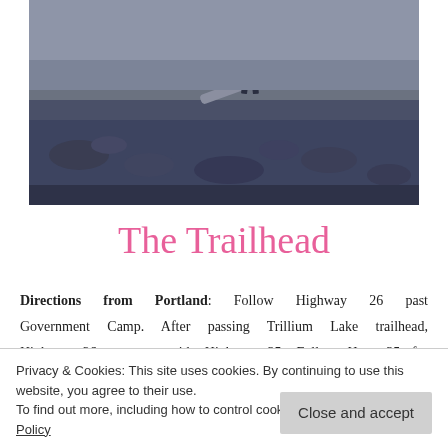[Figure (photo): A person standing on a rocky mountainous terrain with dark volcanic rock and driftwood in the background, viewed from the side.]
The Trailhead
Directions from Portland: Follow Highway 26 past Government Camp. After passing Trillium Lake trailhead, Highway 26 connects with Highway 35. Follow Hwy 35 for several minutes. Some landmarks to look out for to know that
Privacy & Cookies: This site uses cookies. By continuing to use this website, you agree to their use.
To find out more, including how to control cookies, see here: Cookie Policy
There is a small amount of parking available.